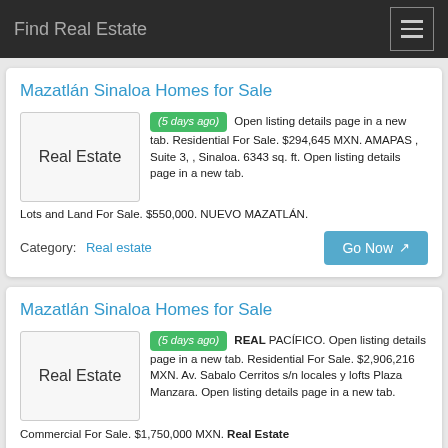Find Real Estate
Mazatlán Sinaloa Homes for Sale
(5 days ago) Open listing details page in a new tab. Residential For Sale. $294,645 MXN. AMAPAS , Suite 3, , Sinaloa. 6343 sq. ft. Open listing details page in a new tab. Lots and Land For Sale. $550,000. NUEVO MAZATLÁN.
Category: Real estate
Mazatlán Sinaloa Homes for Sale
(5 days ago) REAL PACÍFICO. Open listing details page in a new tab. Residential For Sale. $2,906,216 MXN. Av. Sabalo Cerritos s/n locales y lofts Plaza Manzara. Open listing details page in a new tab. Commercial For Sale. $1,750,000 MXN. Real Estate